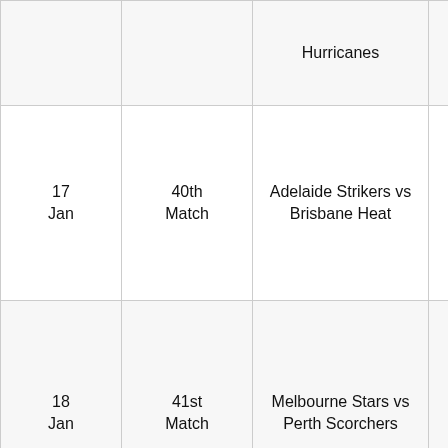| Date | Match | Teams | Venue |
| --- | --- | --- | --- |
|  |  | Hurricanes | Sydney |
| 17 Jan | 40th Match | Adelaide Strikers vs Brisbane Heat | Adelaide Oval, Adelaide |
| 18 Jan | 41st Match | Melbourne Stars vs Perth Scorchers | Melbourne Cricket Ground, Melbourne |
|  |  | Sydney | Sydney |